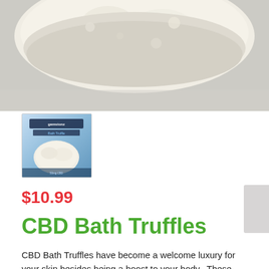[Figure (photo): Close-up photo of a white/cream bath truffle product against a light gray background, showing the textured crumbly surface of the bath product.]
[Figure (photo): Thumbnail image of a CBD Bath Truffle in its packaging — a small square product with a blue label reading 'gemstonz Bath Truffle', showing the white crumbly bath truffle product.]
$10.99
CBD Bath Truffles
CBD Bath Truffles have become a welcome luxury for your skin besides being a boost to your body.  These decadent CBD bath truffles provide 50mg of Broad Spectrum Hemp CBD extract along with essential oils blends. A cube of hydrating oils